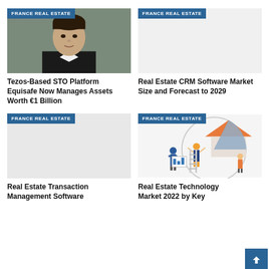[Figure (photo): Person photo with FRANCE REAL ESTATE badge]
[Figure (photo): Blank placeholder with FRANCE REAL ESTATE badge]
Tezos-Based STO Platform Equisafe Now Manages Assets Worth €1 Billion
Real Estate CRM Software Market Size and Forecast to 2029
[Figure (photo): Blank placeholder with FRANCE REAL ESTATE badge]
[Figure (illustration): Real estate technology illustration with people, house and chart, FRANCE REAL ESTATE badge]
Real Estate Transaction Management Software
Real Estate Technology Market 2022 by Key